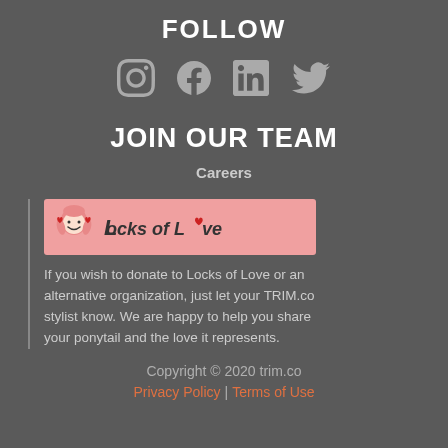FOLLOW
[Figure (illustration): Social media icons: Instagram, Facebook, LinkedIn, Twitter in gray]
JOIN OUR TEAM
Careers
[Figure (logo): Locks of Love logo with cartoon girl character and pink banner]
If you wish to donate to Locks of Love or an alternative organization, just let your TRIM.co stylist know. We are happy to help you share your ponytail and the love it represents.
Copyright © 2020 trim.co
Privacy Policy | Terms of Use